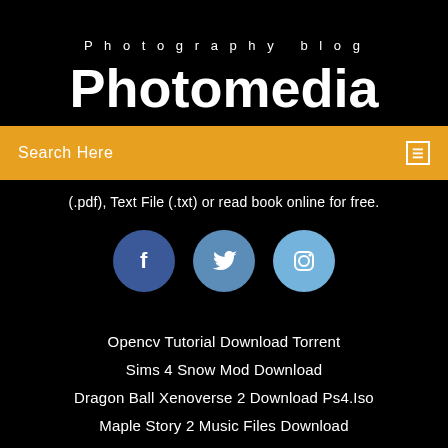Photography blog
Photomedia
Search Here
(.pdf), Text File (.txt) or read book online for free.
[Figure (illustration): Three social media icon circles: Facebook (dark blue), Twitter (medium blue), Instagram (light blue)]
Opencv Tutorial Download Torrent
Sims 4 Snow Mod Download
Dragon Ball Xenoverse 2 Download Ps4.Iso
Maple Story 2 Music Files Download